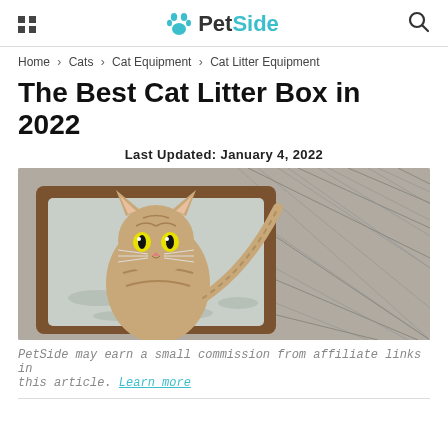PetSide
Home > Cats > Cat Equipment > Cat Litter Equipment
The Best Cat Litter Box in 2022
Last Updated: January 4, 2022
[Figure (photo): A tabby kitten sitting inside a brown litter box filled with gray litter on a tiled floor, looking up at the camera.]
PetSide may earn a small commission from affiliate links in this article. Learn more